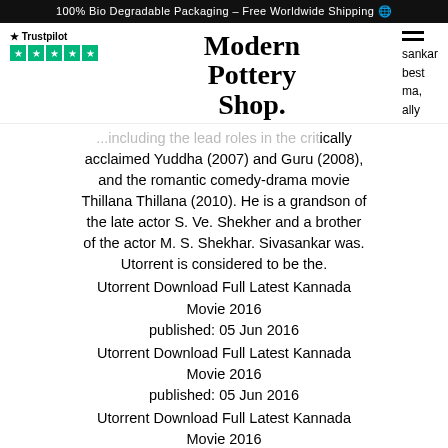100% Bio Degradable Packaging – Free Worldwide Shipping 🌍
[Figure (logo): Trustpilot logo with 5 green star boxes and Modern Pottery Shop. brand name in serif bold font, with hamburger menu icon and sidebar text (sankar, best, ma, ally)]
...including the lead roles in the critically acclaimed Yuddha (2007) and Guru (2008), and the romantic comedy-drama movie Thillana Thillana (2010). He is a grandson of the late actor S. Ve. Shekher and a brother of the actor M. S. Shekhar. Sivasankar was. Utorrent is considered to be the.
Utorrent Download Full Latest Kannada Movie 2016
published: 05 Jun 2016
Utorrent Download Full Latest Kannada Movie 2016
published: 05 Jun 2016
Utorrent Download Full Latest Kannada Movie 2016
published: 06 Jun 2016